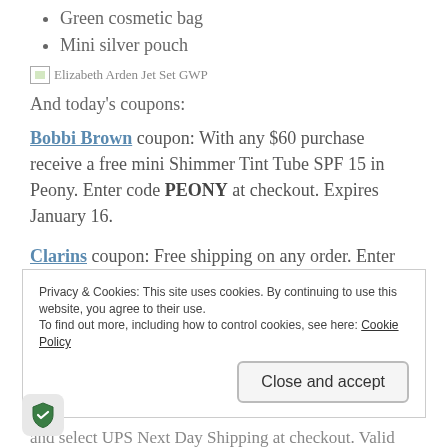Green cosmetic bag
Mini silver pouch
[Figure (photo): Elizabeth Arden Jet Set GWP image placeholder]
And today's coupons:
Bobbi Brown coupon: With any $60 purchase receive a free mini Shimmer Tint Tube SPF 15 in Peony. Enter code PEONY at checkout. Expires January 16.
Clarins coupon: Free shipping on any order. Enter code NATURE at checkout. Expires January 21.
Privacy & Cookies: This site uses cookies. By continuing to use this website, you agree to their use. To find out more, including how to control cookies, see here: Cookie Policy
Close and accept
and select UPS Next Day Shipping at checkout. Valid